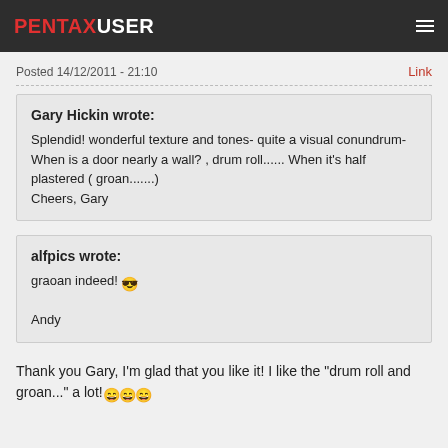PENTAXUSER
Posted 14/12/2011 - 21:10
Link
Gary Hickin wrote:
Splendid! wonderful texture and tones- quite a visual conundrum- When is a door nearly a wall? , drum roll...... When it's half plastered ( groan.......) 
Cheers, Gary
alfpics wrote:
graoan indeed! 😎

Andy
Thank you Gary, I'm glad that you like it! I like the "drum roll and groan..." a lot! 😄😄😄